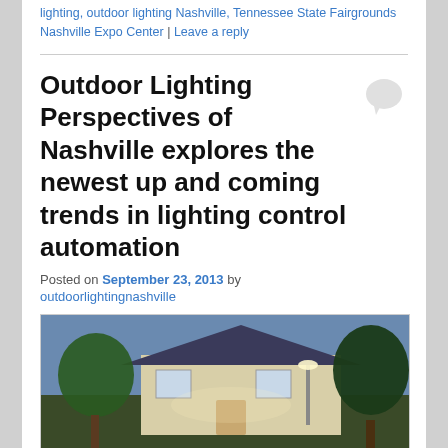lighting, outdoor lighting Nashville, Tennessee State Fairgrounds Nashville Expo Center | Leave a reply
Outdoor Lighting Perspectives of Nashville explores the newest up and coming trends in lighting control automation
Posted on September 23, 2013 by outdoorlightingnashville
[Figure (photo): Outdoor photo of a house at night with lighting and trees]